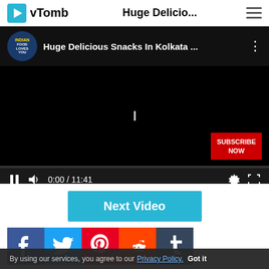vTomb  Huge Delicio...
[Figure (screenshot): YouTube-style embedded video player showing 'Huge Delicious Snacks In Kolkata ...' with channel logo 'Indian Food Loves You', black video area, subscribe now button, progress bar at 0:00/11:41, playback controls including pause, volume, time, settings gear, and fullscreen icons.]
Next Video
[Figure (infographic): Social sharing icons: Facebook (f), Twitter (bird), Pinterest (P), Reddit (alien), Tumblr (t)]
By using our services, you agree to our Privacy Policy.  Got it